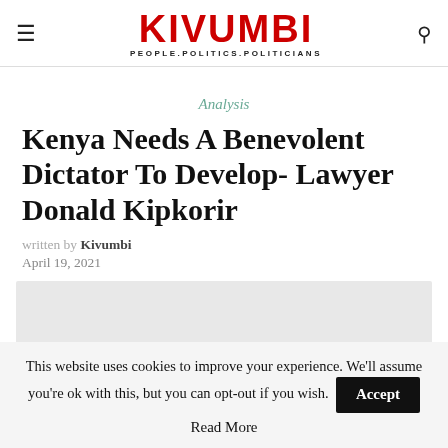KIVUMBI — PEOPLE.POLITICS.POLITICIANS
Analysis
Kenya Needs A Benevolent Dictator To Develop- Lawyer Donald Kipkorir
written by Kivumbi
April 19, 2021
[Figure (other): Grey image placeholder area]
This website uses cookies to improve your experience. We'll assume you're ok with this, but you can opt-out if you wish.
Accept
Read More